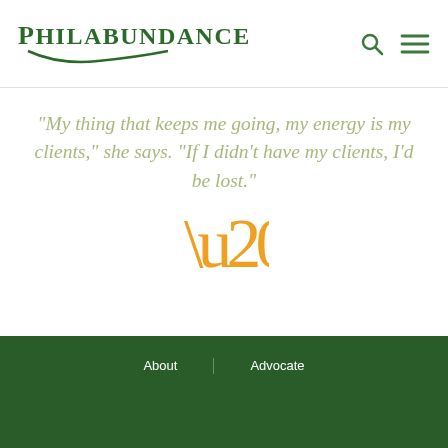[Figure (logo): Philabundance logo with green text and swoosh underline]
“My thing that keeps me going, my energy is my clients,” she says. “If I didn’t have my clients, I’d be lost.”
[Figure (illustration): Large orange closing quotation marks decorative element]
About | Advocate